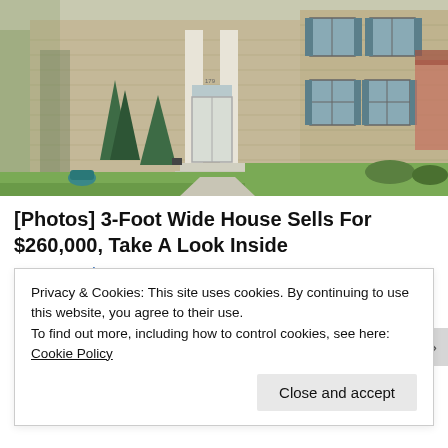[Figure (photo): Front exterior of a two-story beige/tan colonial house with blue shutters, white front door with transom window, white columns, evergreen shrubs, and green lawn. Trees visible on both sides.]
[Photos] 3-Foot Wide House Sells For $260,000, Take A Look Inside
BuzzFond
Privacy & Cookies: This site uses cookies. By continuing to use this website, you agree to their use.
To find out more, including how to control cookies, see here: Cookie Policy
Close and accept